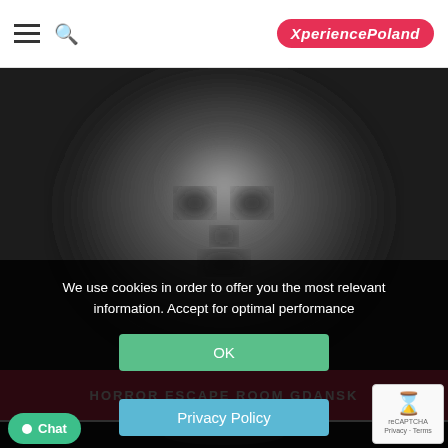XperiencePoland
[Figure (photo): Dark black and white blurred ghost-like face image for Horror Escape Room Gdansk]
HORROR ESCAPE ROOM GDANSK
[Figure (photo): Partial dark image strip at the bottom of the page]
We use cookies in order to offer you the most relevant information. Accept for optimal performance
OK
Privacy Policy
Chat